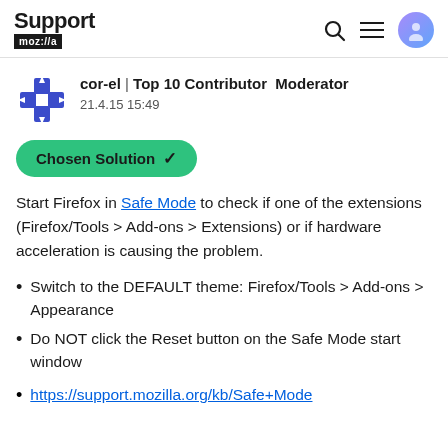Support mozilla | Search Menu User
cor-el | Top 10 Contributor Moderator
21.4.15 15:49
Chosen Solution ✓
Start Firefox in Safe Mode to check if one of the extensions (Firefox/Tools > Add-ons > Extensions) or if hardware acceleration is causing the problem.
Switch to the DEFAULT theme: Firefox/Tools > Add-ons > Appearance
Do NOT click the Reset button on the Safe Mode start window
https://support.mozilla.org/kb/Safe+Mode